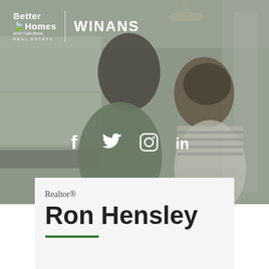[Figure (photo): Background photo of a smiling couple standing in a kitchen, the man in a green shirt and the woman in a striped top, with white cabinetry behind them. Image has a slightly muted/gray overlay tone.]
[Figure (logo): Better Homes and Gardens Real Estate logo in white, followed by a vertical divider and the word WINANS in bold white text]
[Figure (infographic): Social media icons: Facebook (f), Twitter (bird), Instagram (camera outline), LinkedIn (in) — all in white]
Realtor®
Ron Hensley